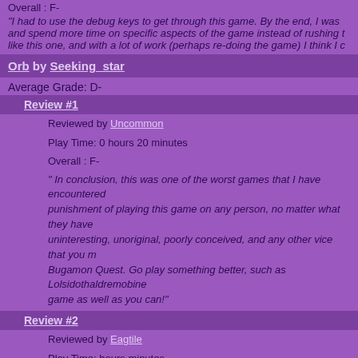Overall : F-
"I had to use the debug keys to get through this game. By the end, I was and spend more time on specific aspects of the game instead of rushing like this one, and with a lot of work (perhaps re-doing the game) I think I c
Orb by Seeking_star
Average Grade: D-
Review #1
Reviewed by Uncommon
Play Time: 0 hours 20 minutes
Overall : F-
" In conclusion, this was one of the worst games that I have encountered punishment of playing this game on any person, no matter what they hav uninteresting, unoriginal, poorly conceived, and any other vice that you m Bugamon Quest. Go play something better, such as Lolsidothaldremobine game as well as you can!"
Review #2
Reviewed by Eagtile
Play Time: hours minutes
Overall : C-
"A good attempt. The basis for this game is fine, but it needs for developm
ORBituaries: Spherical Disasters by Uncommon
Average Grade: C-
Review #1
Reviewed by Chaos Nyto: